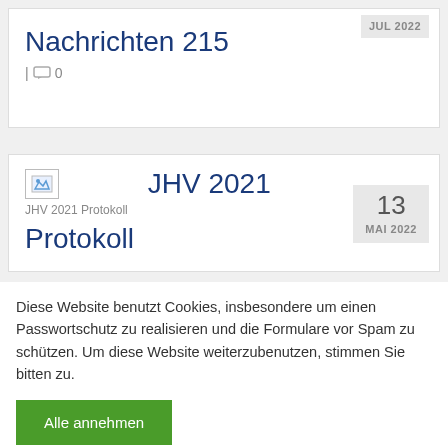Nachrichten 215
| 0
JHV 2021 Protokoll
[Figure (illustration): Small thumbnail image placeholder for JHV 2021 Protokoll]
Diese Website benutzt Cookies, insbesondere um einen Passwortschutz zu realisieren und die Formulare vor Spam zu schützen. Um diese Website weiterzubenutzen, stimmen Sie bitten zu.
Alle annehmen